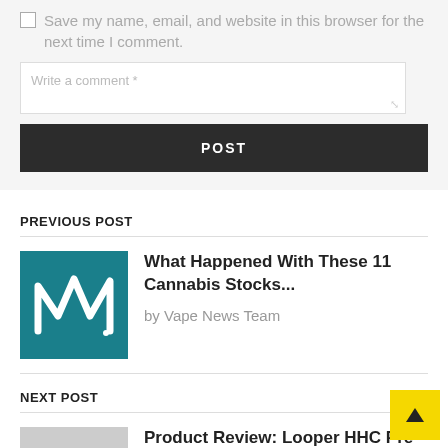Save my name, email, and website in this browser for the next time I comment.
Write a comment *
POST
PREVIOUS POST
[Figure (logo): Teal square logo with white stylized M and heartbeat line graphic]
What Happened With These 11 Cannabis Stocks...
by Vape News Team
NEXT POST
Product Review: Looper HHC Pre-